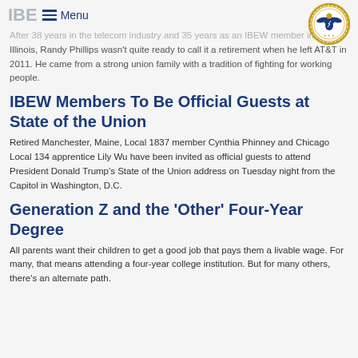IBEW Menu
After 38 years in the telecom industry and 35 years as an IBEW member in his native Illinois, Randy Phillips wasn't quite ready to call it a retirement when he left AT&T in 2011. He came from a strong union family with a tradition of fighting for working people.
IBEW Members To Be Official Guests at State of the Union
Retired Manchester, Maine, Local 1837 member Cynthia Phinney and Chicago Local 134 apprentice Lily Wu have been invited as official guests to attend President Donald Trump's State of the Union address on Tuesday night from the Capitol in Washington, D.C.
Generation Z and the ‘Other’ Four-Year Degree
All parents want their children to get a good job that pays them a livable wage. For many, that means attending a four-year college institution. But for many others, there’s an alternate path.